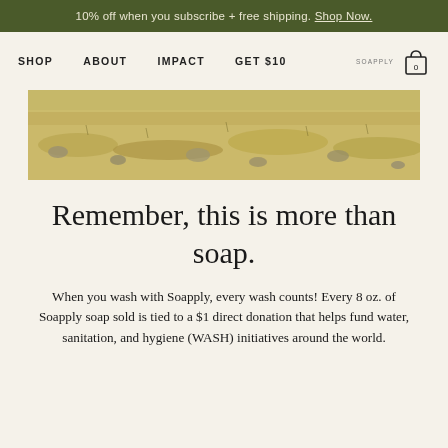10% off when you subscribe + free shipping. Shop Now.
SHOP   ABOUT   IMPACT   GET $10
[Figure (photo): Wide landscape photo showing dry grassy terrain with scattered rocks, muted golden-brown tones.]
Remember, this is more than soap.
When you wash with Soapply, every wash counts! Every 8 oz. of Soapply soap sold is tied to a $1 direct donation that helps fund water, sanitation, and hygiene (WASH) initiatives around the world.